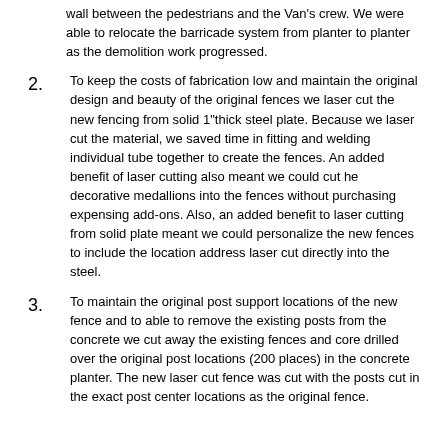wall between the pedestrians and the Van's crew. We were able to relocate the barricade system from planter to planter as the demolition work progressed.
To keep the costs of fabrication low and maintain the original design and beauty of the original fences we laser cut the new fencing from solid 1"thick steel plate. Because we laser cut the material, we saved time in fitting and welding individual tube together to create the fences. An added benefit of laser cutting also meant we could cut he decorative medallions into the fences without purchasing expensing add-ons. Also, an added benefit to laser cutting from solid plate meant we could personalize the new fences to include the location address laser cut directly into the steel.
To maintain the original post support locations of the new fence and to able to remove the existing posts from the concrete we cut away the existing fences and core drilled over the original post locations (200 places) in the concrete planter. The new laser cut fence was cut with the posts cut in the exact post center locations as the original fence.